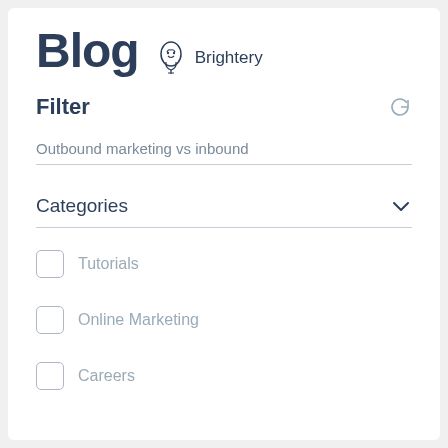Blog
[Figure (logo): Brightery logo with a lightbulb/bird icon and the brand name 'Brightery']
Filter
Outbound marketing vs inbound
Categories
Tutorials
Online Marketing
Careers